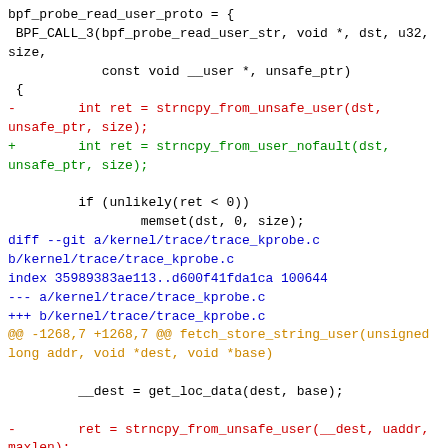[Figure (screenshot): A git diff patch showing code changes in kernel trace files. Shows BPF probe read user proto function definition and two diff hunks replacing strncpy_from_unsafe_user with strncpy_from_user_nofault.]